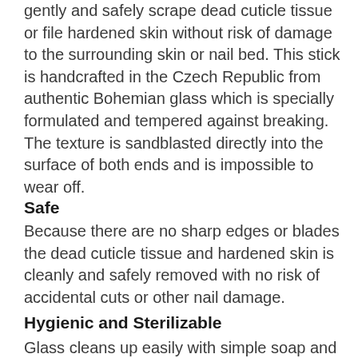gently and safely scrape dead cuticle tissue or file hardened skin without risk of damage to the surrounding skin or nail bed. This stick is handcrafted in the Czech Republic from authentic Bohemian glass which is specially formulated and tempered against breaking. The texture is sandblasted directly into the surface of both ends and is impossible to wear off.
Safe
Because there are no sharp edges or blades the dead cuticle tissue and hardened skin is cleanly and safely removed with no risk of accidental cuts or other nail damage.
Hygienic and Sterilizable
Glass cleans up easily with simple soap and water and is durable enough to hold up to a chemical bath or steam sterilizer (up to 170 degrees Celsius). Unlike cheaper glass "files"